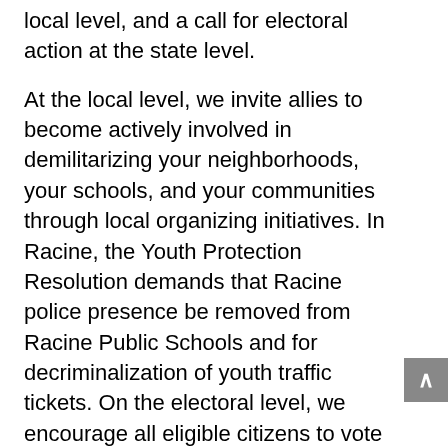local level, and a call for electoral action at the state level.
At the local level, we invite allies to become actively involved in demilitarizing your neighborhoods, your schools, and your communities through local organizing initiatives. In Racine, the Youth Protection Resolution demands that Racine police presence be removed from Racine Public Schools and for decriminalization of youth traffic tickets. On the electoral level, we encourage all eligible citizens to vote for racial justice and police accountability in November. We furthermore encourage Wisconsin voters to become involved with the Voces de la Frontera Action Voceros por el Voto program, to build a network of 23,000 Latinx and multiracial youth voters. Together we can vote out the institutionalized racism that is criminalizing people of color and immigrants, creating a mass incarceration crisis, and allowing for the impunity